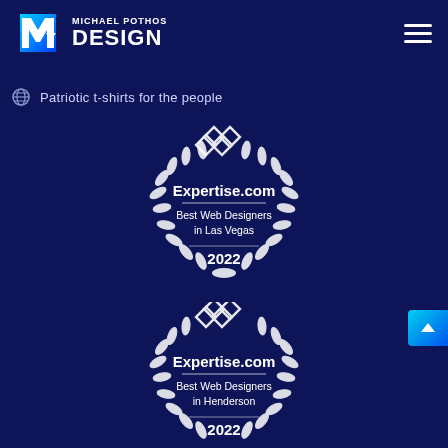Michael Pothos Design
Patriotic t-shirts for the people
[Figure (logo): Expertise.com Best Web Designers in Las Vegas 2022 badge with laurel wreath]
[Figure (logo): Expertise.com Best Web Designers in Henderson 2022 badge with laurel wreath (partially visible)]